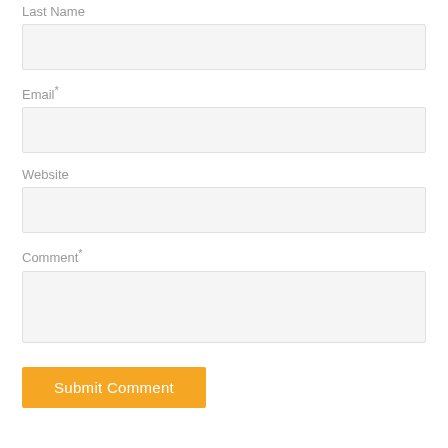Last Name
Email*
Website
Comment*
Submit Comment